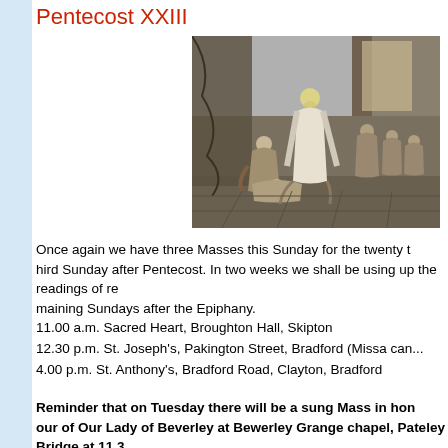Pentecost XXIII
[Figure (illustration): Black and white religious illustration showing a robed figure with a halo standing over a person kneeling/bowing, with other figures in the background in an interior setting]
Once again we have three Masses this Sunday for the twenty third Sunday after Pentecost. In two weeks we shall be using up the readings of remaining Sundays after the Epiphany.
11.00 a.m. Sacred Heart, Broughton Hall, Skipton
12.30 p.m. St. Joseph's, Pakington Street, Bradford (Missa can...
4.00 p.m. St. Anthony's, Bradford Road, Clayton, Bradford
Reminder that on Tuesday there will be a sung Mass in honour of Our Lady of Beverley at Bewerley Grange chapel, Pateley Bridge at 11.3...